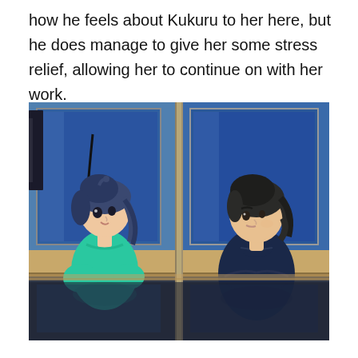how he feels about Kukuru to her here, but he does manage to give her some stress relief, allowing her to continue on with her work.
[Figure (illustration): Anime screenshot showing two characters facing each other in a room with aquarium tanks. On the left is a short-haired girl in a teal/green top looking up with a slight smile. On the right is a taller person with dark hair in a dark navy turtleneck with arms crossed, looking toward the left character.]
Whereas Kukuru is adamant that the remaining sea slugs be properly fed, Kaoru notes that Kukuru's idealism is interfering with their actual work and in the